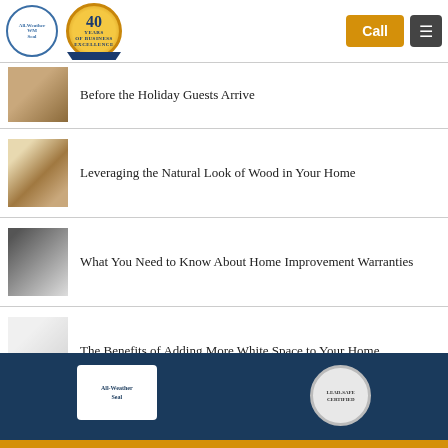[Figure (logo): All-Weather Seal circular logo and 40 Years badge, plus Call button and hamburger menu]
Before the Holiday Guests Arrive
Leveraging the Natural Look of Wood in Your Home
What You Need to Know About Home Improvement Warranties
The Benefits of Adding More White Space to Your Home
[Figure (logo): Footer with All-Weather Seal white logo box and Lead-Safe badge on dark navy background with gold bottom bar]